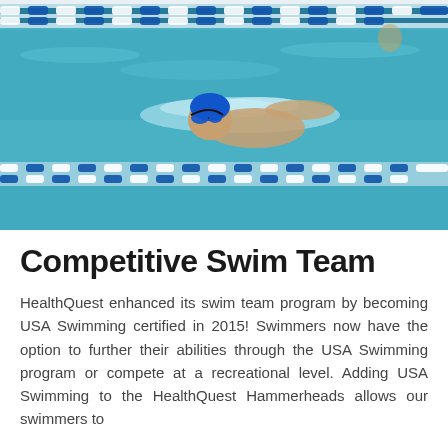[Figure (photo): Photograph of a competitive swimmer in a blue cap and goggles swimming freestyle in an indoor pool with lane dividers visible]
Competitive Swim Team
HealthQuest enhanced its swim team program by becoming USA Swimming certified in 2015! Swimmers now have the option to further their abilities through the USA Swimming program or compete at a recreational level. Adding USA Swimming to the HealthQuest Hammerheads allows our swimmers to